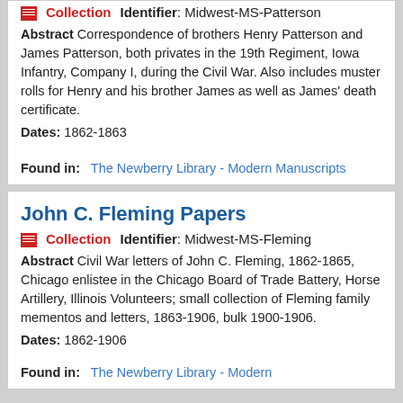Collection   Identifier: Midwest-MS-Patterson
Abstract Correspondence of brothers Henry Patterson and James Patterson, both privates in the 19th Regiment, Iowa Infantry, Company I, during the Civil War. Also includes muster rolls for Henry and his brother James as well as James' death certificate.
Dates: 1862-1863
Found in:   The Newberry Library - Modern Manuscripts
John C. Fleming Papers
Collection   Identifier: Midwest-MS-Fleming
Abstract Civil War letters of John C. Fleming, 1862-1865, Chicago enlistee in the Chicago Board of Trade Battery, Horse Artillery, Illinois Volunteers; small collection of Fleming family mementos and letters, 1863-1906, bulk 1900-1906.
Dates: 1862-1906
Found in:   The Newberry Library - Modern